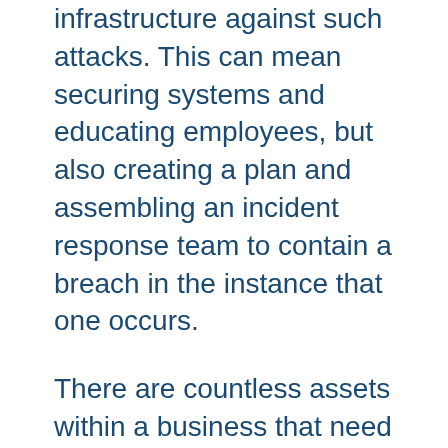infrastructure against such attacks. This can mean securing systems and educating employees, but also creating a plan and assembling an incident response team to contain a breach in the instance that one occurs.
There are countless assets within a business that need to be secured. To cover all of them requires a dedicated inventory of all resources, as well as a risk assessment for every unique business in order to inspect every vector in which data might be leaked. However, there